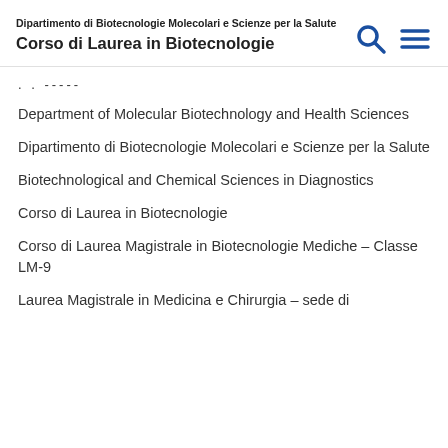Dipartimento di Biotecnologie Molecolari e Scienze per la Salute
Corso di Laurea in Biotecnologie
. . -----
Department of Molecular Biotechnology and Health Sciences
Dipartimento di Biotecnologie Molecolari e Scienze per la Salute
Biotechnological and Chemical Sciences in Diagnostics
Corso di Laurea in Biotecnologie
Corso di Laurea Magistrale in Biotecnologie Mediche – Classe LM-9
Laurea Magistrale in Medicina e Chirurgia – sede di